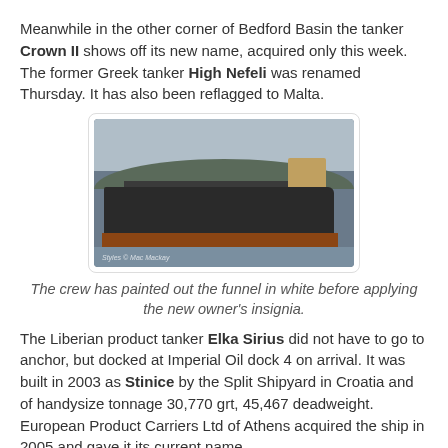Meanwhile in the other corner of Bedford Basin the tanker Crown II shows off its new name, acquired only this week. The former Greek tanker High Nefeli was renamed Thursday. It has also been reflagged to Malta.
[Figure (photo): Photograph of the tanker Crown II (formerly High Nefeli) docked in Bedford Basin. The ship is large with a dark hull and rust-brown lower hull, with a white superstructure. Hills visible in the background. Watermark reads: Styles © Mac Mackay]
The crew has painted out the funnel in white before applying the new owner's insignia.
The Liberian product tanker Elka Sirius did not have to go to anchor, but docked at Imperial Oil dock 4 on arrival. It was built in 2003 as Stinice by the Split Shipyard in Croatia and of handysize tonnage 30,770 grt, 45,467 deadweight. European Product Carriers Ltd of Athens acquired the ship in 2005 and gave it its current name.
[Figure (photo): Partial photograph of another tanker, cropped at the bottom of the page.]